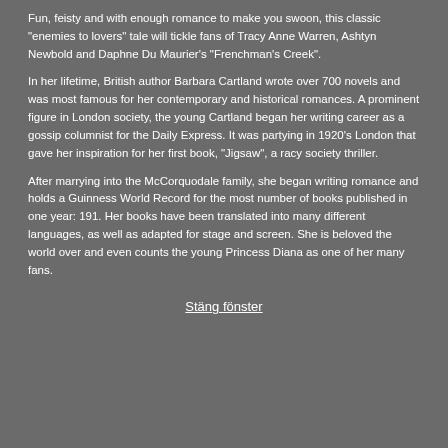Fun, feisty and with enough romance to make you swoon, this classic "enemies to lovers" tale will tickle fans of Tracy Anne Warren, Ashtyn Newbold and Daphne Du Maurier's "Frenchman's Creek".
In her lifetime, British author Barbara Cartland wrote over 700 novels and was most famous for her contemporary and historical romances. A prominent figure in London society, the young Cartland began her writing career as a gossip columnist for the Daily Express. It was partying in 1920's London that gave her inspiration for her first book, "Jigsaw", a racy society thriller.
After marrying into the McCorquodale family, she began writing romance and holds a Guinness World Record for the most number of books published in one year: 191. Her books have been translated into many different languages, as well as adapted for stage and screen. She is beloved the world over and even counts the young Princess Diana as one of her many fans.
Stäng fönster
[Figure (photo): Book cover: Frida Skybäck - Svartfågel, dark blue/grey tones with bold white text and red subtitle]
[Figure (photo): Book cover: På Svenska 1 by Marit Kapla, grey/blue tones with handwritten-style title and circled number 1]